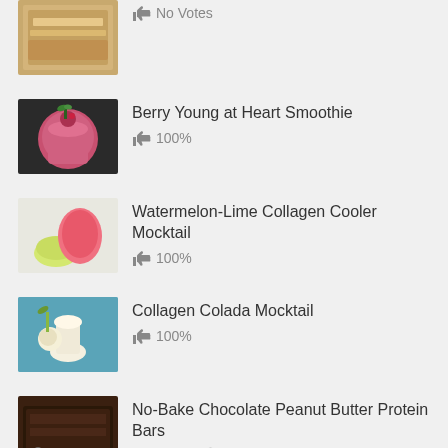No Votes
Berry Young at Heart Smoothie — 100%
Watermelon-Lime Collagen Cooler Mocktail — 100%
Collagen Colada Mocktail — 100%
No-Bake Chocolate Peanut Butter Protein Bars — 100% — 10 min
Recent Posts
The Summer Hot List: Sizzling Deals on Sensational Warm-Weather Faves